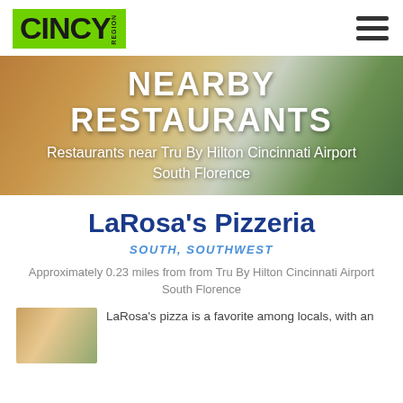[Figure (logo): CINCY Region logo on green background]
[Figure (other): Hamburger menu icon with three horizontal bars]
[Figure (photo): Blurred food photo hero banner background]
NEARBY RESTAURANTS
Restaurants near Tru By Hilton Cincinnati Airport South Florence
LaRosa's Pizzeria
SOUTH, SOUTHWEST
Approximately 0.23 miles from from Tru By Hilton Cincinnati Airport South Florence
[Figure (photo): Thumbnail image of LaRosa's Pizzeria food]
LaRosa's pizza is a favorite among locals, with an